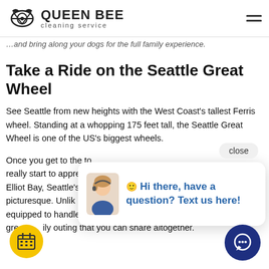QUEEN BEE cleaning service
…and bring along your dogs for the full family experience.
Take a Ride on the Seattle Great Wheel
See Seattle from new heights with the West Coast's tallest Ferris wheel. Standing at a whopping 175 feet tall, the Seattle Great Wheel is one of the US's biggest wheels.
Once you get to the top, you'll really start to appreciate the stunning Elliot Bay, Seattle's picturesque. Unlike others, directly equipped to handle up to 8 passengers. This makes for a great family outing that you can share altogether.
[Figure (screenshot): Chat popup with customer service avatar and message: Hi there, have a question? Text us here!]
[Figure (other): Close button overlay]
[Figure (other): Yellow calendar button at bottom left]
[Figure (other): Blue chat button at bottom right]